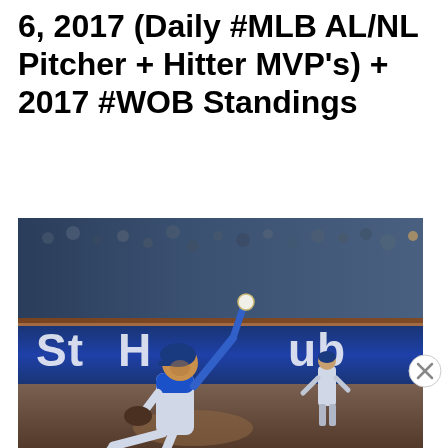6, 2017 (Daily #MLB AL/NL Pitcher + Hitter MVP's) + 2017 #WOB Standings
[Figure (photo): A baseball pitcher in a blue and white Dodgers uniform in mid-pitch delivery at night game, with a fielder visible in background, StubHub outfield wall advertisement visible behind them, crowd in the stands]
Advertisements